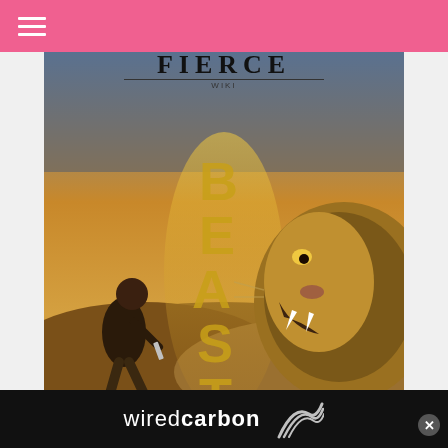[Figure (screenshot): FIERCE magazine logo overlaid on top of a movie poster for 'Beast' featuring Idris Elba crouching with a knife facing a roaring lion, with golden letters B-E-A-S-T vertically and text 'IN THEATERS' and 'IDRIS ELBA' at the bottom]
[Figure (other): WiredCarbon advertisement banner with logo showing stylized lines, white text 'wiredcarbon' on black background, with close (x) button]